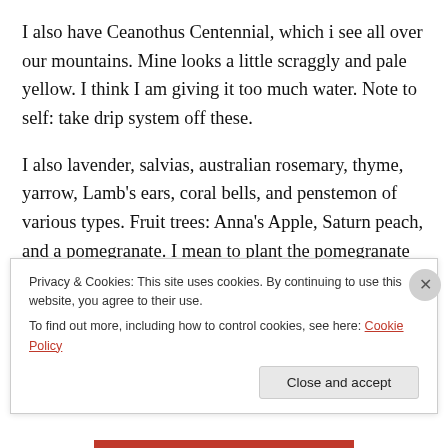I also have Ceanothus Centennial, which i see all over our mountains. Mine looks a little scraggly and pale yellow. I think I am giving it too much water. Note to self: take drip system off these.
I also lavender, salvias, australian rosemary, thyme, yarrow, Lamb's ears, coral bells, and penstemon of various types. Fruit trees: Anna's Apple, Saturn peach, and a pomegranate. I mean to plant the pomegranate eight years ago when my daughter was born–well, I'm a little late. You know the saying!
Privacy & Cookies: This site uses cookies. By continuing to use this website, you agree to their use.
To find out more, including how to control cookies, see here: Cookie Policy
Close and accept